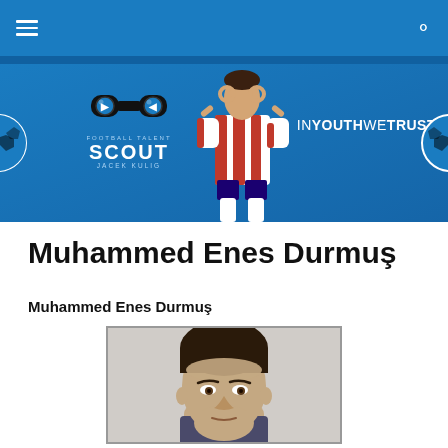Football Talent Scout — Jacek Kulig — IN YOUTH WE TRUST
[Figure (photo): Football Talent Scout banner with logo (binoculars icon, SCOUT text, JACEK KULIG), player in Atletico Madrid kit, IN YOUTH WE TRUST text, soccer ball icons on left and right]
Muhammed Enes Durmuş
Muhammed Enes Durmuş
[Figure (photo): Headshot photo of Muhammed Enes Durmuş, a young male football player with dark hair, neutral expression, light background]